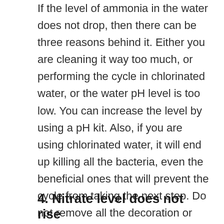If the level of ammonia in the water does not drop, then there can be three reasons behind it. Either you are cleaning it way too much, or performing the cycle in chlorinated water, or the water pH level is too low. You can increase the level by using a pH kit. Also, if you are using chlorinated water, it will end up killing all the bacteria, even the beneficial ones that will prevent the cycle from taking the next step. Do not remove all the decoration or plants in your aquarium, as the bacteria you need, usually live in them. If you clean them way too much, you are keeping the bacteria from establishing.
4. Nitrate level does not rise